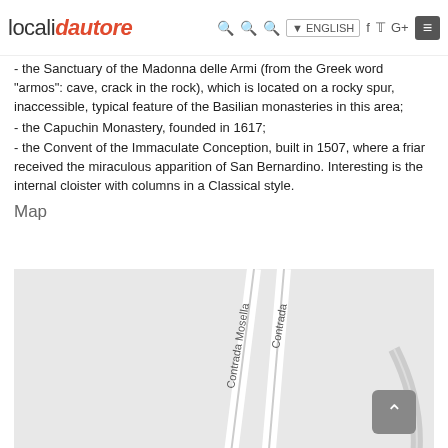localidautore — ENGLISH navigation bar
- the Sanctuary of the Madonna delle Armi (from the Greek word "armos": cave, crack in the rock), which is located on a rocky spur, inaccessible, typical feature of the Basilian monasteries in this area;
- the Capuchin Monastery, founded in 1617;
- the Convent of the Immaculate Conception, built in 1507, where a friar received the miraculous apparition of San Bernardino. Interesting is the internal cloister with columns in a Classical style.
Map
[Figure (map): Street map showing Contrada Mosella and another Contrada road, with road lines on a light grey background]